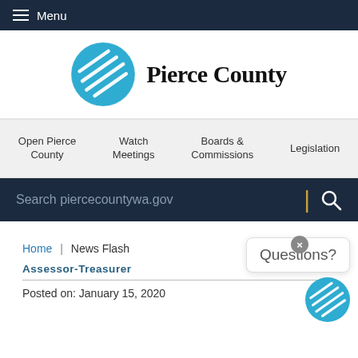Menu
[Figure (logo): Pierce County logo: blue circle with white mountain stripes, text 'Pierce County' in serif font]
Open Pierce County | Watch Meetings | Boards & Commissions | Legislation
Search piercecountywa.gov
Questions?
Home | News Flash
Assessor-Treasurer
Posted on: January 15, 2020